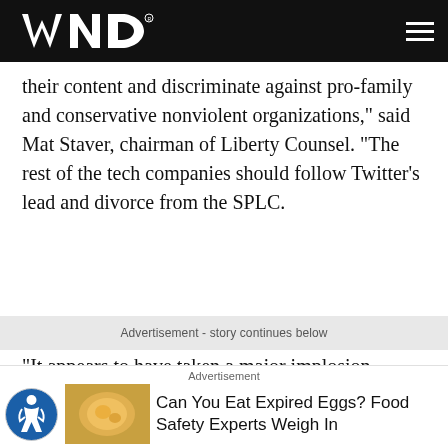WND
their content and discriminate against pro-family and conservative nonviolent organizations," said Mat Staver, chairman of Liberty Counsel. "The rest of the tech companies should follow Twitter's lead and divorce from the SPLC.
Advertisement - story continues below
"It appears to have taken a major implosion within the SPLC for others to finally see what organizations like Liberty Counsel have been saying all along,."
Advertisement
Can You Eat Expired Eggs? Food Safety Experts Weigh In